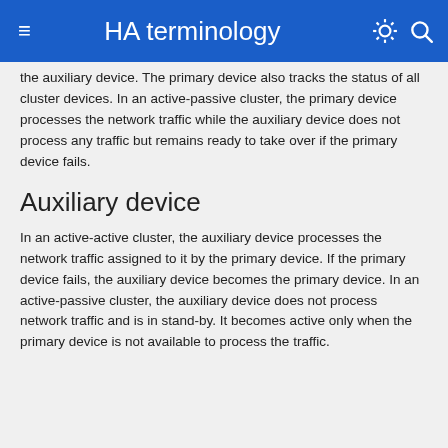HA terminology
the auxiliary device. The primary device also tracks the status of all cluster devices. In an active-passive cluster, the primary device processes the network traffic while the auxiliary device does not process any traffic but remains ready to take over if the primary device fails.
Auxiliary device
In an active-active cluster, the auxiliary device processes the network traffic assigned to it by the primary device. If the primary device fails, the auxiliary device becomes the primary device. In an active-passive cluster, the auxiliary device does not process network traffic and is in stand-by. It becomes active only when the primary device is not available to process the traffic.